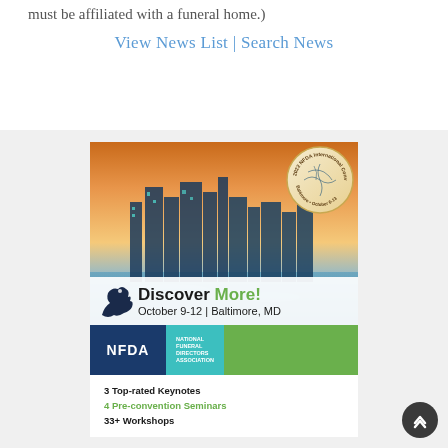(... must be affiliated with a funeral home.)
View News List | Search News
[Figure (illustration): NFDA International Convention & Expo advertisement banner showing Baltimore cityscape at sunset with a raven silhouette, circular seal reading '2022 NFDA International Convention & Expo, Baltimore, October 6-13', text 'Discover More! October 9-12 | Baltimore, MD', NFDA National Funeral Directors Association logo bar in blue, teal and green, followed by bullet points: 3 Top-rated Keynotes, 4 Pre-convention Seminars, 33+ Workshops]